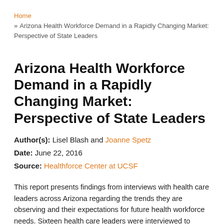Home » Arizona Health Workforce Demand in a Rapidly Changing Market: Perspective of State Leaders
Arizona Health Workforce Demand in a Rapidly Changing Market: Perspective of State Leaders
Author(s): Lisel Blash and Joanne Spetz
Date: June 22, 2016
Source: Healthforce Center at UCSF
This report presents findings from interviews with health care leaders across Arizona regarding the trends they are observing and their expectations for future health workforce needs. Sixteen health care leaders were interviewed to assess their plans in the face of health care